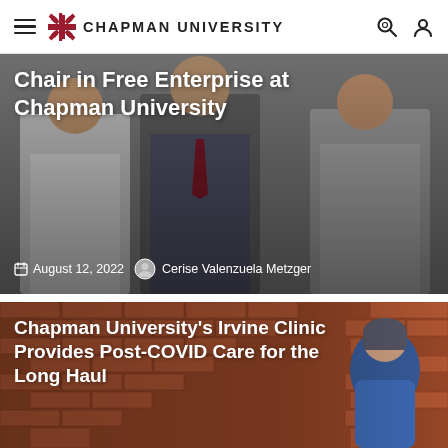CHAPMAN UNIVERSITY
Chair in Free Enterprise at Chapman University
August 12, 2022  Cerise Valenzuela Metzger
[Figure (photo): Three men in suits posing together for a photo related to a free enterprise chair announcement at Chapman University]
Chapman University's Irvine Clinic Provides Post-COVID Care for the Long Haul
[Figure (photo): Woman standing in front of a brick wall wearing a blue top, related to Chapman University's Irvine Clinic Post-COVID care story]